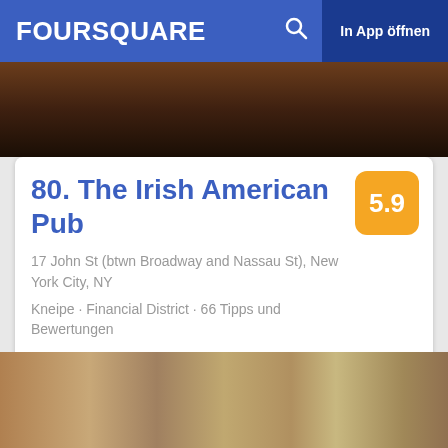FOURSQUARE  In App öffnen
[Figure (photo): Dark photo of bar bottles in background, top portion of listing card]
80. The Irish American Pub
5.9
17 John St (btwn Broadway and Nassau St), New York City, NY
Kneipe · Financial District · 66 Tipps und Bewertungen
[Figure (photo): Photo of two empty drinking glasses on a table, warm amber tones]